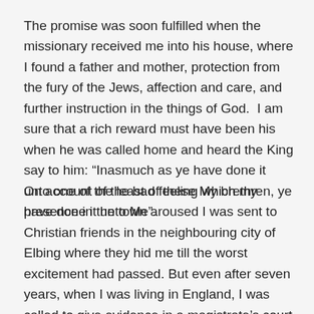The promise was soon fulfilled when the missionary received me into his house, where I found a father and mother, protection from the fury of the Jews, affection and care, and further instruction in the things of God.  I am sure that a rich reward must have been his when he was called home and heard the King say to him: “Inasmuch as ye have done it unto one of the least of these My brethren, ye have done it unto Me”.
On account of the bad feeling which my presence in the town aroused I was sent to Christian friends in the neighbouring city of Elbing where they hid me till the worst excitement had passed. But even after seven years, when I was living in England, I was called to give evidence in a magistrate’s court about a book which had been published in Leipzig, entitled ‘Wolves in Sheep Clothing’. It contained the vilest accusations against the missionary